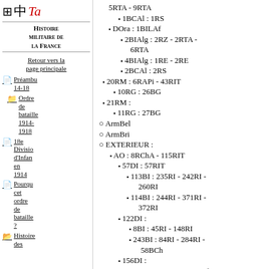Histoire militaire de la France
Retour vers la page principale
Préambu
14-18
Ordre de bataille 1914-1918
18e Division d'Infan en 1914
Pourqu cet ordre de bataille ?
Histoire des...
5RTA - 9RTA
1BCAl : 1RS
DOra : 1BILAf
2BIAlg : 2RZ - 2RTA - 6RTA
4BIAlg : 1RE - 2RE
2BCAl : 2RS
20RM : 6RAPi - 43RIT
10RG : 26BG
21RM :
11RG : 27BG
ArmBel
ArmBri
EXTERIEUR :
AO : 8RChA - 115RIT
57DI : 57RIT
113BI : 235RI - 242RI - 260RI
114BI : 244RI - 371RI - 372RI
122DI :
8BI : 45RI - 148RI
243BI : 84RI - 284RI - 58BCh
156DI :
311BI : 175RI - 1RMAf
312BI : 176RI - 2RMAf
17DIC :